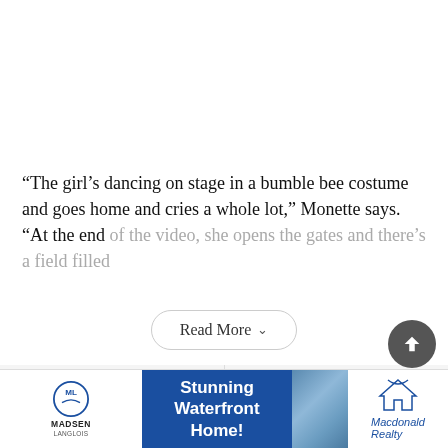“The girl’s dancing on stage in a bumble bee costume and goes home and cries a whole lot,” Monette says. “At the end of the video, she opens the gates and there’s a field filled
Read More
Previous story
Next story
[Figure (other): Advertisement banner for Madsen Langlois real estate featuring Macdonald Realty. Shows text 'Stunning Waterfront Home!' on blue background with photo of waterfront house.]